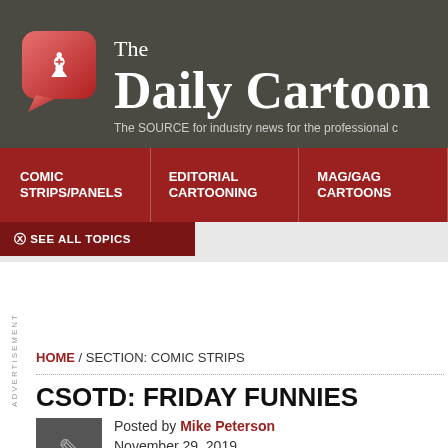The Daily Cartoon — The SOURCE for industry news for the professional cartoonist
COMIC STRIPS/PANELS | EDITORIAL CARTOONING | MAG/GAG CARTOONS
SEE ALL TOPICS
ADVERTISEMENT
HOME / SECTION: COMIC STRIPS
CSOTD: FRIDAY FUNNIES
Posted by Mike Peterson
November 29, 2019